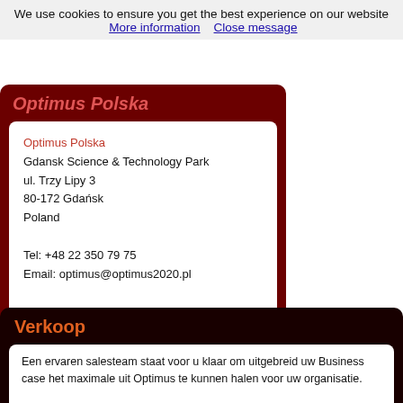We use cookies to ensure you get the best experience on our website  More information    Close message
Optimus Polska
Optimus Polska
Gdansk Science & Technology Park
ul. Trzy Lipy 3
80-172 Gdańsk
Poland

Tel: +48 22 350 79 75
Email: optimus@optimus2020.pl
Verkoop
Een ervaren salesteam staat voor u klaar om uitgebreid uw Business case het maximale uit Optimus te kunnen halen voor uw organisatie.

Contactgegevens: sales@optimus2020.com